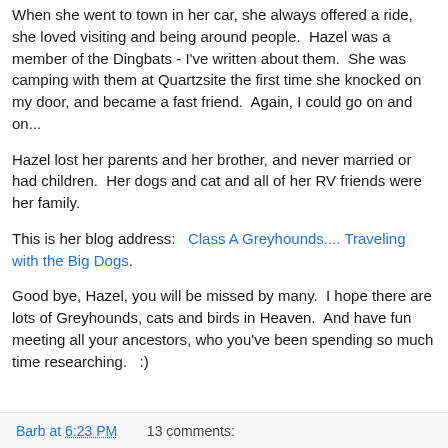When she went to town in her car, she always offered a ride, she loved visiting and being around people.  Hazel was a member of the Dingbats - I've written about them.  She was camping with them at Quartzsite the first time she knocked on my door, and became a fast friend.  Again, I could go on and on...
Hazel lost her parents and her brother, and never married or had children.  Her dogs and cat and all of her RV friends were her family.
This is her blog address:   Class A Greyhounds.... Traveling with the Big Dogs.
Good bye, Hazel, you will be missed by many.  I hope there are lots of Greyhounds, cats and birds in Heaven.  And have fun meeting all your ancestors, who you've been spending so much time researching.   :)
Barb at 6:23 PM   13 comments: